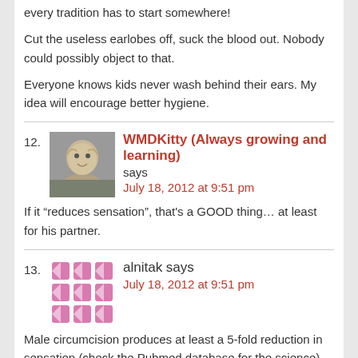every tradition has to start somewhere!
Cut the useless earlobes off, suck the blood out. Nobody could possibly object to that.
Everyone knows kids never wash behind their ears. My idea will encourage better hygiene.
12. WMDKitty (Always growing and learning) says July 18, 2012 at 9:51 pm
If it “reduces sensation”, that's a GOOD thing… at least for his partner.
13. alnitak says July 18, 2012 at 9:51 pm
Male circumcision produces at least a 5-fold reduction in sensation (check the Pubmed database for the science). Circumcised men thrust strongly into their partner in order